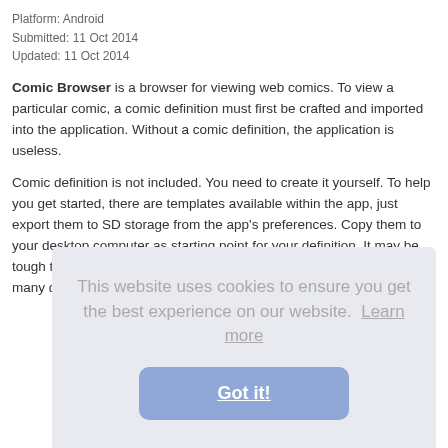Platform: Android
Submitted: 11 Oct 2014
Updated: 11 Oct 2014
Comic Browser is a browser for viewing web comics. To view a particular comic, a comic definition must first be crafted and imported into the application. Without a comic definition, the application is useless.
Comic definition is not included. You need to create it yourself. To help you get started, there are templates available within the app, just export them to SD storage from the app's preferences. Copy them to your desktop computer as starting point for your definition. It may be tough to write your first definition, but once you understand the process many daily comic strips can be view.
This website uses cookies to ensure you get the best experience on our website. Learn more
Got it!